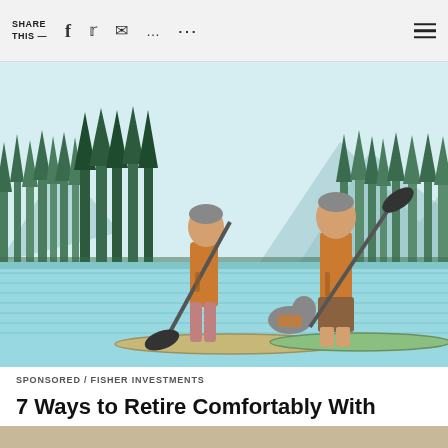SHARE THIS —
[Figure (illustration): Illustration of two adults and a dog on stand-up paddleboards on a lake with pine trees and mountains in the background. Both adults wear orange life vests and hold paddles. The dog also wears an orange vest and sits between them.]
SPONSORED / FISHER INVESTMENTS
7 Ways to Retire Comfortably With $500k